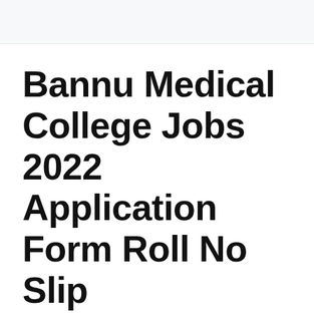Bannu Medical College Jobs 2022 Application Form Roll No Slip
August 24, 2019 by NTSMcqsAdminn